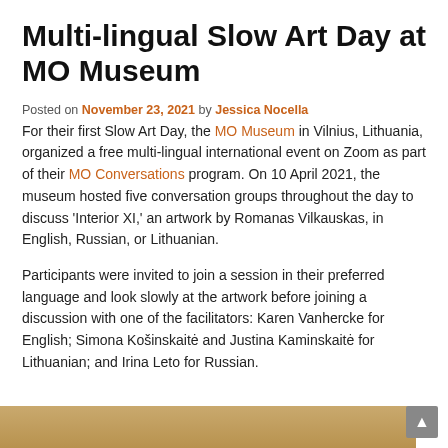Multi-lingual Slow Art Day at MO Museum
Posted on November 23, 2021 by Jessica Nocella
For their first Slow Art Day, the MO Museum in Vilnius, Lithuania, organized a free multi-lingual international event on Zoom as part of their MO Conversations program. On 10 April 2021, the museum hosted five conversation groups throughout the day to discuss 'Interior XI,' an artwork by Romanas Vilkauskas, in English, Russian, or Lithuanian.
Participants were invited to join a session in their preferred language and look slowly at the artwork before joining a discussion with one of the facilitators: Karen Vanhercke for English; Simona Košinskaitė and Justina Kaminskaitė for Lithuanian; and Irina Leto for Russian.
[Figure (photo): Bottom portion of a page showing a warm golden/tan colored image strip at the bottom edge, likely an artwork or museum interior photograph.]